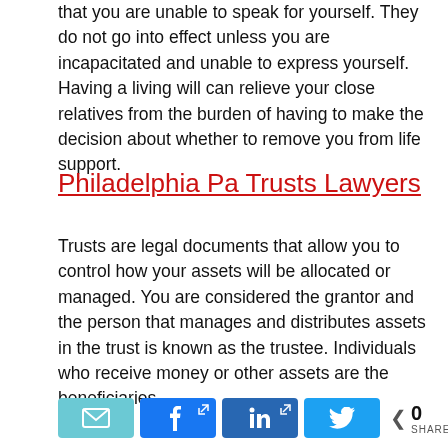that you are unable to speak for yourself. They do not go into effect unless you are incapacitated and unable to express yourself. Having a living will can relieve your close relatives from the burden of having to make the decision about whether to remove you from life support.
Philadelphia Pa Trusts Lawyers
Trusts are legal documents that allow you to control how your assets will be allocated or managed. You are considered the grantor and the person that manages and distributes assets in the trust is known as the trustee. Individuals who receive money or other assets are the beneficiaries.
[Figure (infographic): Social share buttons: email (teal), Facebook (blue), LinkedIn (dark blue), Twitter (light blue), and a share count showing 0 SHARES]